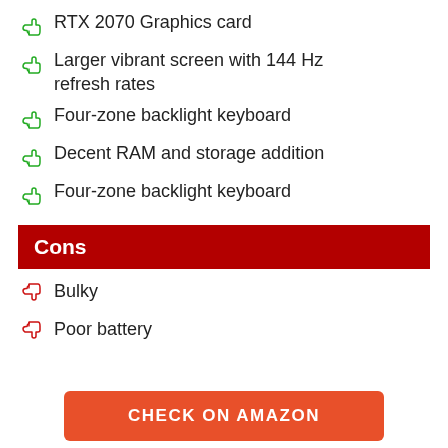RTX 2070 Graphics card
Larger vibrant screen with 144 Hz refresh rates
Four-zone backlight keyboard
Decent RAM and storage addition
Four-zone backlight keyboard
Cons
Bulky
Poor battery
CHECK ON AMAZON